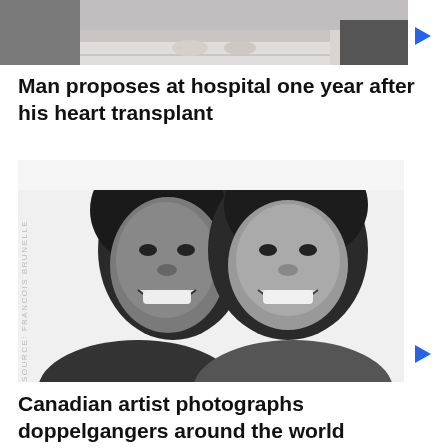[Figure (photo): Partial top image strip showing a floor scene, clipped at top of page]
Man proposes at hospital one year after his heart transplant
[Figure (photo): Black and white portrait photograph of two smiling women side by side, with vertical text 'SOURCE: FRANCOIS BRUNELLE' along the left edge]
Canadian artist photographs doppelgangers around the world